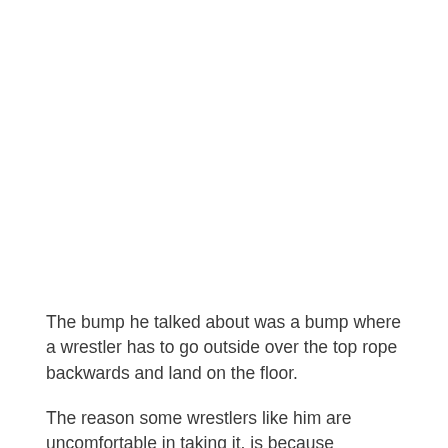The bump he talked about was a bump where a wrestler has to go outside over the top rope backwards and land on the floor.
The reason some wrestlers like him are uncomfortable in taking it, is because everything happens blind and you have